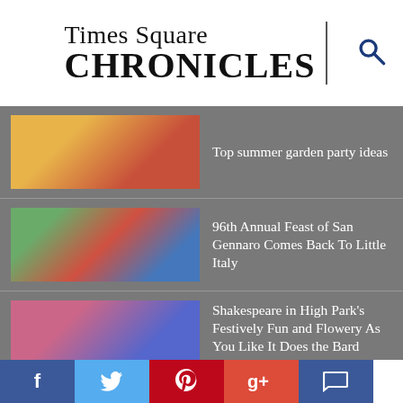Times Square CHRONICLES
Top summer garden party ideas
96th Annual Feast of San Gennaro Comes Back To Little Italy
Shakespeare in High Park's Festively Fun and Flowery As You Like It Does the Bard Proud
Jonathan Groff and Lindsay Mendez Join Daniel Radcliffe in Merrily We Roll Along
f  [twitter]  [pinterest]  g+  [comment]